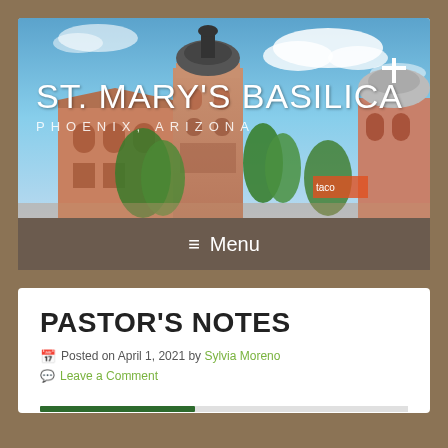[Figure (photo): Church header image showing St. Mary's Basilica bell tower with pink/terracotta Spanish colonial architecture against a blue sky, with green trees and a cross visible on the right. Text overlay reads ST. MARY'S BASILICA and PHOENIX, ARIZONA.]
≡ Menu
PASTOR'S NOTES
Posted on April 1, 2021 by Sylvia Moreno
Leave a Comment